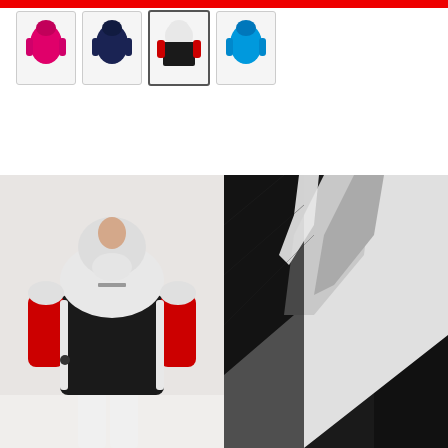[Figure (photo): Four color variant thumbnail images of a ski jacket: pink, navy, black/white/red (selected), and blue]
Select Size
[Figure (photo): Back view of a person wearing a white and black ski jacket with red sleeves]
[Figure (photo): Close-up detail of black and white jacket fabric/material]